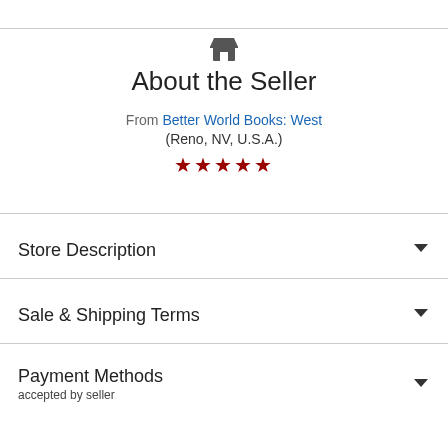About the Seller
From Better World Books: West (Reno, NV, U.S.A.) ★★★★★
Store Description
Sale & Shipping Terms
Payment Methods
accepted by seller